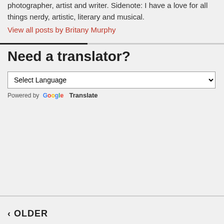photographer, artist and writer. Sidenote: I have a love for all things nerdy, artistic, literary and musical.
View all posts by Britany Murphy
Need a translator?
[Figure (other): Select Language dropdown and Google Translate powered-by line]
‹ OLDER